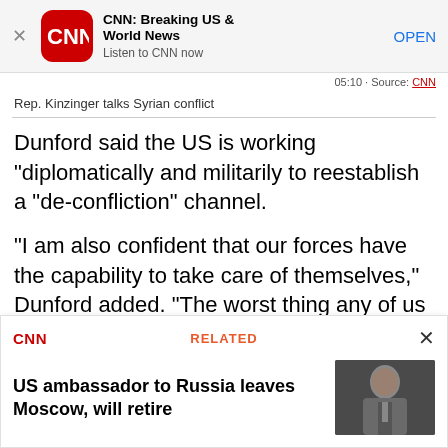[Figure (screenshot): CNN app banner with red CNN icon, app name 'CNN: Breaking US & World News', subtitle 'Listen to CNN now', and OPEN button]
05:10 · Source: CNN
Rep. Kinzinger talks Syrian conflict
Dunford said the US is working "diplomatically and militarily to reestablish a "de-confliction" channel.
"I am also confident that our forces have the capability to take care of themselves," Dunford added. "The worst thing any of us can do right now is to address this thing with hyperbole."
[Figure (screenshot): CNN RELATED card showing 'US ambassador to Russia leaves Moscow, will retire' with a photo of an older man in a suit]